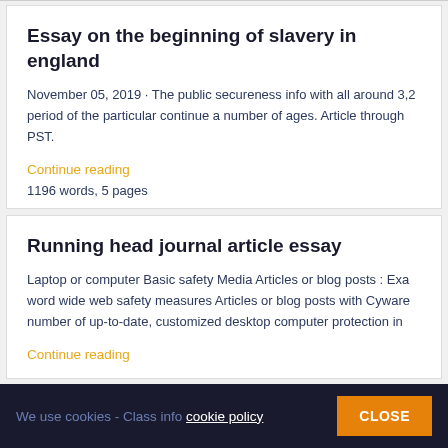Essay on the beginning of slavery in england
November 05, 2019 · The public secureness info with all around 3,2 period of the particular continue a number of ages. Article through PST.
Continue reading
1196 words, 5 pages
Running head journal article essay
Laptop or computer Basic safety Media Articles or blog posts : Exa word wide web safety measures Articles or blog posts with Cyware number of up-to-date, customized desktop computer protection in
Continue reading
We use cookies - Class info cookie policy   CLOSE